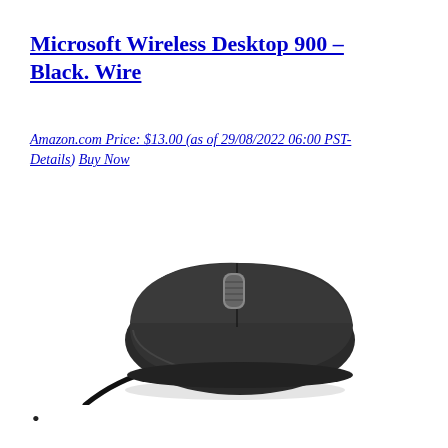Microsoft Wireless Desktop 900 – Black. Wire
Amazon.com Price: $13.00 (as of 29/08/2022 06:00 PST- Details) Buy Now
[Figure (photo): Product photo of a black wired computer mouse (Microsoft Wireless Desktop 900) on white background, with cable extending to the lower-left.]
•